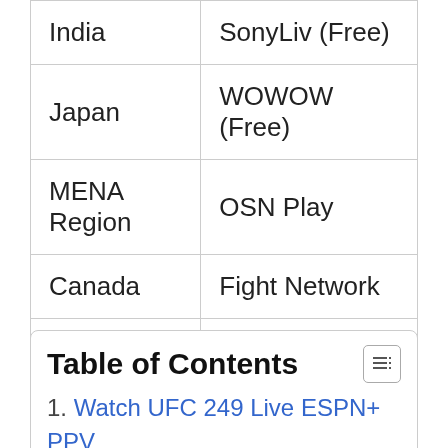| India | SonyLiv (Free) |
| Japan | WOWOW (Free) |
| MENA Region | OSN Play |
| Canada | Fight Network |
| China | PPTV (Free) |
| Russia | Russia 2 (Free) |
Table of Contents
1. Watch UFC 249 Live ESPN+ PPV